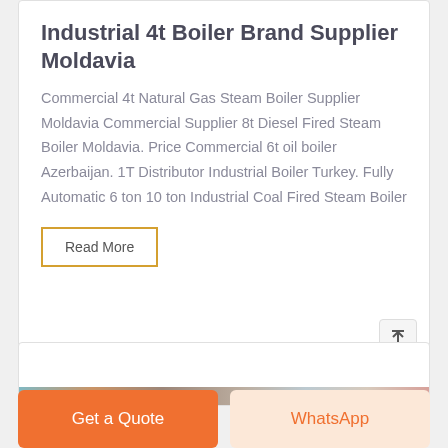Industrial 4t Boiler Brand Supplier Moldavia
Commercial 4t Natural Gas Steam Boiler Supplier Moldavia Commercial Supplier 8t Diesel Fired Steam Boiler Moldavia. Price Commercial 6t oil boiler Azerbaijan. 1T Distributor Industrial Boiler Turkey. Fully Automatic 6 ton 10 ton Industrial Coal Fired Steam Boiler
Read More
[Figure (photo): Partial image strip visible at bottom of lower card, showing boiler/industrial equipment images]
Get a Quote
WhatsApp